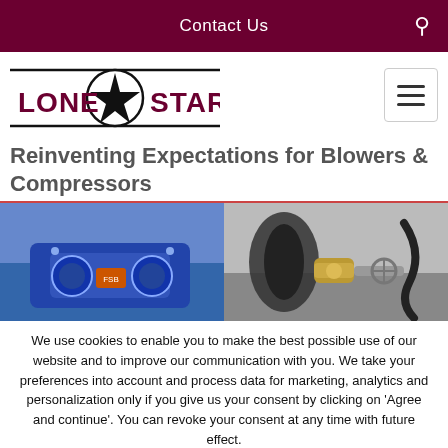Contact Us
[Figure (logo): Lone Star company logo with star emblem and bold text LONE STAR]
Reinventing Expectations for Blowers & Compressors
[Figure (photo): Two photos side by side: left shows a blue industrial blower/compressor machine, right shows industrial plumbing/pipe fittings]
We use cookies to enable you to make the best possible use of our website and to improve our communication with you. We take your preferences into account and process data for marketing, analytics and personalization only if you give us your consent by clicking on 'Agree and continue'. You can revoke your consent at any time with future effect.
Accept
Decline